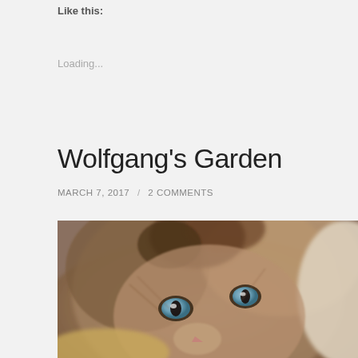Like this:
Loading...
Wolfgang's Garden
MARCH 7, 2017  /  2 COMMENTS
[Figure (photo): Close-up photograph of a fluffy cat with blue/grey eyes and brown-grey fur, looking directly at the camera from a low angle.]